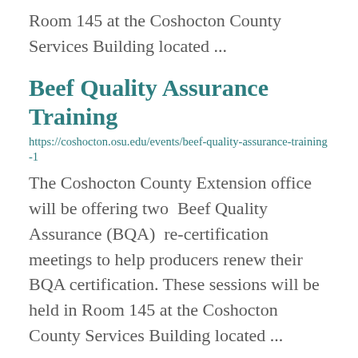Room 145 at the Coshocton County Services Building located ...
Beef Quality Assurance Training
https://coshocton.osu.edu/events/beef-quality-assurance-training-1
The Coshocton County Extension office will be offering two  Beef Quality Assurance (BQA)  re-certification meetings to help producers renew their BQA certification. These sessions will be held in Room 145 at the Coshocton County Services Building located ...
Beef Quality Assurance Training